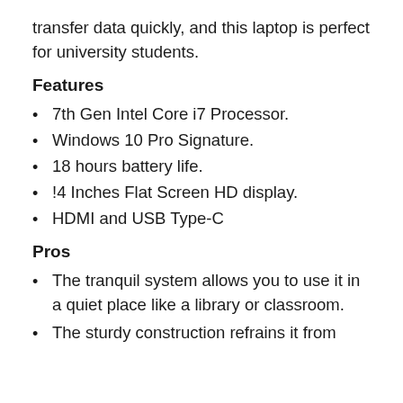transfer data quickly, and this laptop is perfect for university students.
Features
7th Gen Intel Core i7 Processor.
Windows 10 Pro Signature.
18 hours battery life.
!4 Inches Flat Screen HD display.
HDMI and USB Type-C
Pros
The tranquil system allows you to use it in a quiet place like a library or classroom.
The sturdy construction refrains it from